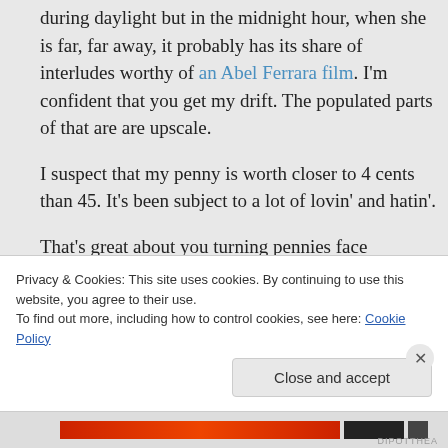during daylight but in the midnight hour, when she is far, far away, it probably has its share of interludes worthy of an Abel Ferrara film. I'm confident that you get my drift. The populated parts of that are are upscale.
I suspect that my penny is worth closer to 4 cents than 45. It's been subject to a lot of lovin' and hatin'.
That's great about you turning pennies face
Privacy & Cookies: This site uses cookies. By continuing to use this website, you agree to their use.
To find out more, including how to control cookies, see here: Cookie Policy